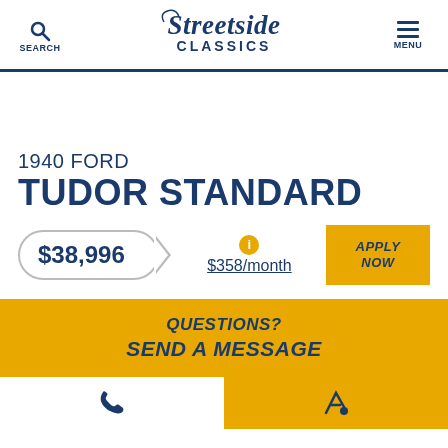SEARCH | Streetside Classics | MENU
1940 FORD TUDOR STANDARD
$38,996
$358/month
APPLY NOW
QUESTIONS? SEND A MESSAGE